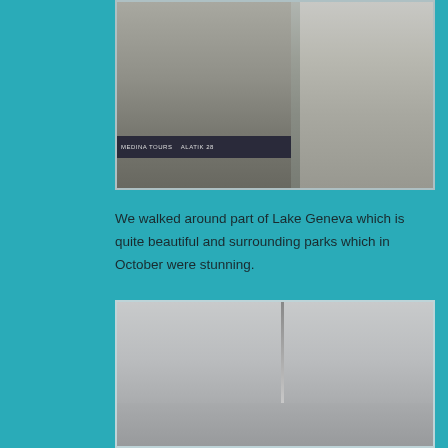[Figure (photo): Street-level view of old European-style buildings in Geneva, with bare trees on the right side and a shop sign reading 'MEDINA TOURS' and 'ALATIK' at the bottom left.]
We walked around part of Lake Geneva which is quite beautiful and surrounding parks which in October were stunning.
[Figure (photo): Misty, grey view of Lake Geneva with the Jet d'Eau water fountain visible as a thin vertical line in the centre, against an overcast sky.]